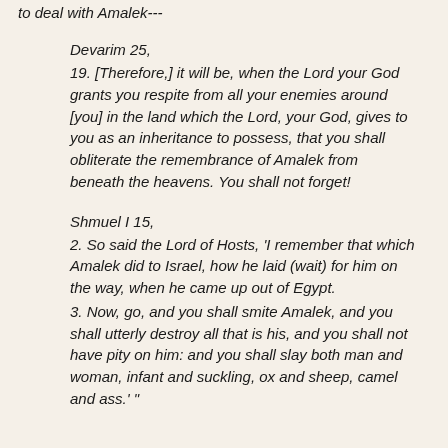to deal with Amalek---
Devarim 25,
19. [Therefore,] it will be, when the Lord your God grants you respite from all your enemies around [you] in the land which the Lord, your God, gives to you as an inheritance to possess, that you shall obliterate the remembrance of Amalek from beneath the heavens. You shall not forget!
Shmuel I 15,
2. So said the Lord of Hosts, 'I remember that which Amalek did to Israel, how he laid (wait) for him on the way, when he came up out of Egypt.
3. Now, go, and you shall smite Amalek, and you shall utterly destroy all that is his, and you shall not have pity on him: and you shall slay both man and woman, infant and suckling, ox and sheep, camel and ass.' "